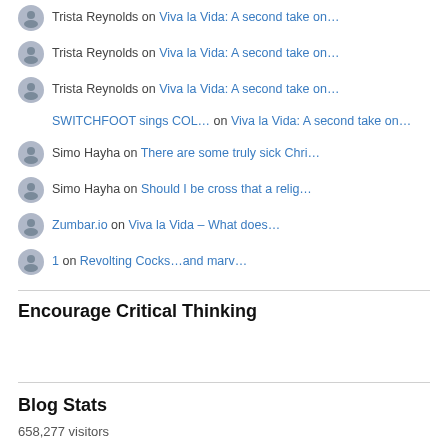Trista Reynolds on Viva la Vida: A second take on…
Trista Reynolds on Viva la Vida: A second take on…
Trista Reynolds on Viva la Vida: A second take on…
SWITCHFOOT sings COL… on Viva la Vida: A second take on…
Simo Hayha on There are some truly sick Chri…
Simo Hayha on Should I be cross that a relig…
Zumbar.io on Viva la Vida – What does…
1 on Revolting Cocks…and marv…
Encourage Critical Thinking
Blog Stats
658,277 visitors